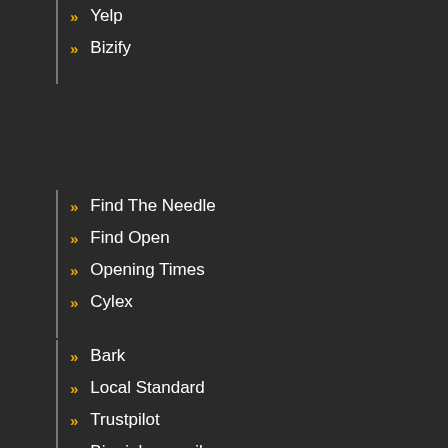» Yelp
» Bizify
» Find The Needle
» Find Open
» Opening Times
» Cylex
» Bark
» Local Standard
» Trustpilot
» Birmighammail